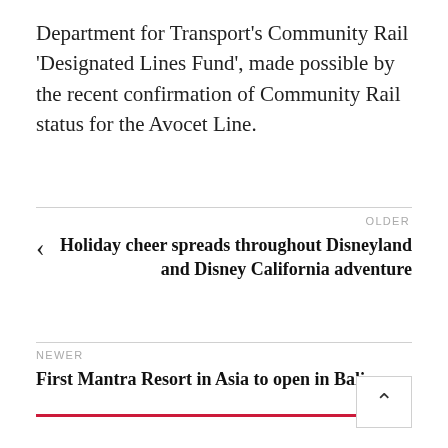Department for Transport's Community Rail 'Designated Lines Fund', made possible by the recent confirmation of Community Rail status for the Avocet Line.
OLDER
Holiday cheer spreads throughout Disneyland and Disney California adventure
NEWER
First Mantra Resort in Asia to open in Bali